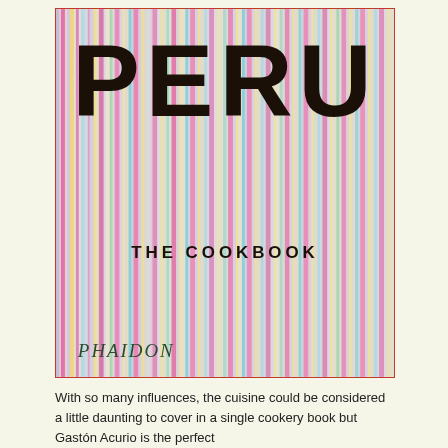[Figure (illustration): Book cover of 'Peru: The Cookbook' published by Phaidon. Features colorful vertical stripes in pink, yellow, teal, lavender, and other pastel colors resembling woven textile. Large bold black text 'PERU' at the top and 'THE COOKBOOK' in the center. Phaidon publisher name in italic green at the bottom left.]
With so many influences, the cuisine could be considered a little daunting to cover in a single cookery book but Gastón Acurio is the perfect